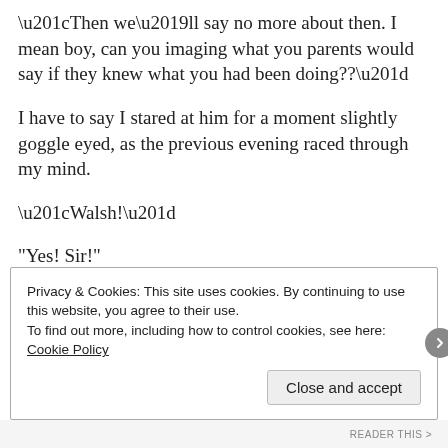“Then we’ll say no more about then. I mean boy, can you imaging what you parents would say if they knew what you had been doing??”
I have to say I stared at him for a moment slightly goggle eyed, as the previous evening raced through my mind.
“Walsh!”
"Yes! Sir!"
“Well! Have you any idea how your parents would react boy!?”
Privacy & Cookies: This site uses cookies. By continuing to use this website, you agree to their use.
To find out more, including how to control cookies, see here: Cookie Policy
Close and accept